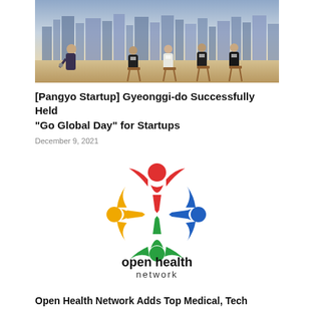[Figure (photo): Panel discussion with four people seated on stage against a city skyline backdrop]
[Pangyo Startup] Gyeonggi-do Successfully Held “Go Global Day” for Startups
December 9, 2021
[Figure (logo): Open Health Network logo with four colorful figures in red, yellow, blue, green forming an X shape, with text 'open health network']
Open Health Network Adds Top Medical, Tech